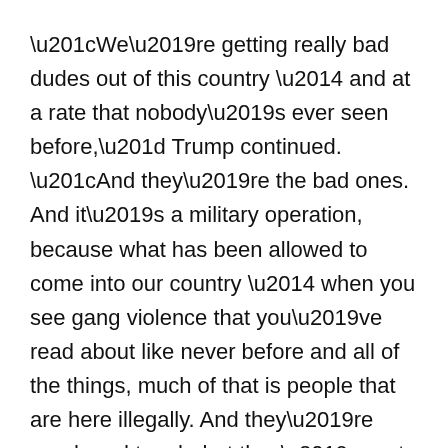“We’re getting really bad dudes out of this country — and at a rate that nobody’s ever seen before,” Trump continued. “And they’re the bad ones. And it’s a military operation, because what has been allowed to come into our country — when you see gang violence that you’ve read about like never before and all of the things, much of that is people that are here illegally. And they’re rough and tough, but they’re not as tough like our people. So we’re getting them out.”
In the lead-up to the meetings, the White House and Mexico have sent mixed messages about their relationship. White House press secretary